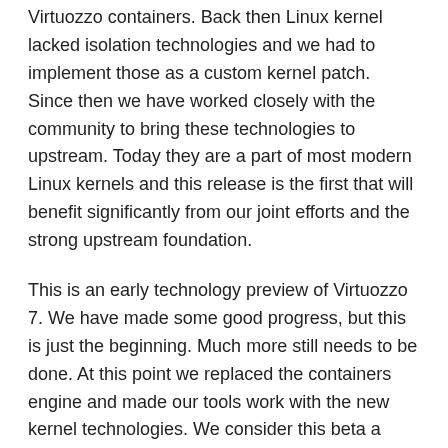Virtuozzo containers. Back then Linux kernel lacked isolation technologies and we had to implement those as a custom kernel patch. Since then we have worked closely with the community to bring these technologies to upstream. Today they are a part of most modern Linux kernels and this release is the first that will benefit significantly from our joint efforts and the strong upstream foundation.
This is an early technology preview of Virtuozzo 7. We have made some good progress, but this is just the beginning. Much more still needs to be done. At this point we replaced the containers engine and made our tools work with the new kernel technologies. We consider this beta a major milestone on the road to the official Virtuozzo 7 release and want to share the progress with our customers.
This Virtuozzo 7.0 Technical Preview offers the following significant improvements: